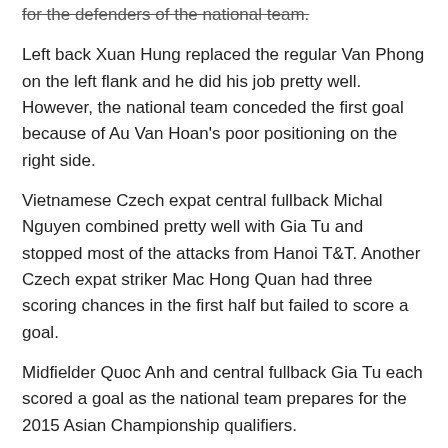for the defenders of the national team.
Left back Xuan Hung replaced the regular Van Phong on the left flank and he did his job pretty well. However, the national team conceded the first goal because of Au Van Hoan's poor positioning on the right side.
Vietnamese Czech expat central fullback Michal Nguyen combined pretty well with Gia Tu and stopped most of the attacks from Hanoi T&T. Another Czech expat striker Mac Hong Quan had three scoring chances in the first half but failed to score a goal.
Midfielder Quoc Anh and central fullback Gia Tu each scored a goal as the national team prepares for the 2015 Asian Championship qualifiers.
Speaking after the match, Coach Phuc said, "The national team played better than in the game against Hai Phong. However, the defenders made a mistake that cost the team a goal.
"In the next matches, the team will need to play faster, especially in changing from defense to counterattacks."□
Phuc said that it is not a good idea to worry about expat striker Mac Hong Quan because his job is to attract the rivals, giving the midfielders more